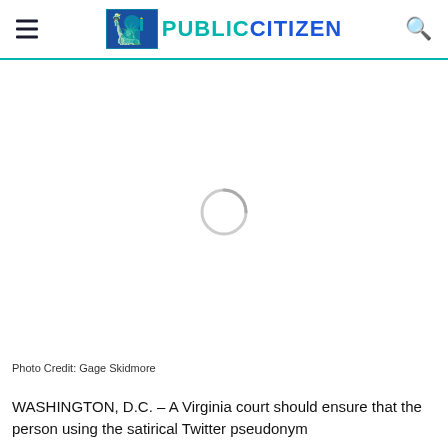PUBLIC CITIZEN
[Figure (photo): Loading spinner / placeholder image area for a photo, attributed to Gage Skidmore]
Photo Credit: Gage Skidmore
WASHINGTON, D.C. – A Virginia court should ensure that the person using the satirical Twitter pseudonym